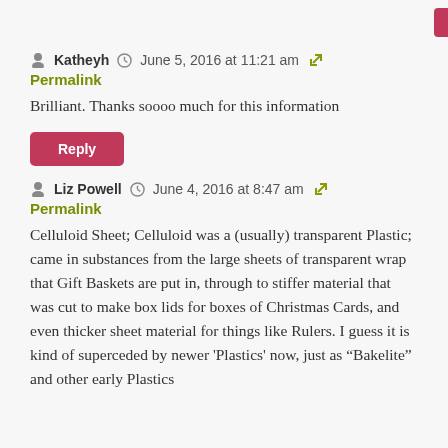[Figure (other): Reply button (pink/red) partially visible at top]
Katheyh   June 5, 2016 at 11:21 am
Permalink
Brilliant. Thanks soooo much for this information
[Figure (other): Reply button (pink/red)]
Liz Powell   June 4, 2016 at 8:47 am
Permalink
Celluloid Sheet; Celluloid was a (usually) transparent Plastic; came in substances from the large sheets of transparent wrap that Gift Baskets are put in, through to stiffer material that was cut to make box lids for boxes of Christmas Cards, and even thicker sheet material for things like Rulers. I guess it is kind of superceded by newer ‘Plastics’ now, just as “Bakelite” and other early Plastics